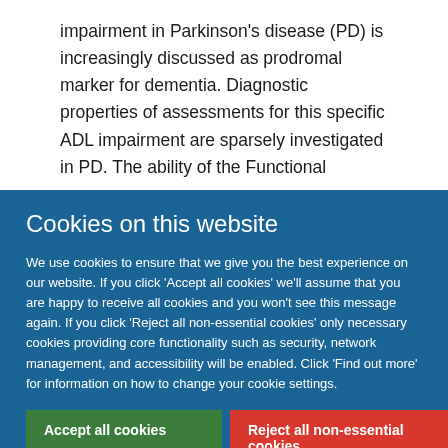impairment in Parkinson's disease (PD) is increasingly discussed as prodromal marker for dementia. Diagnostic properties of assessments for this specific ADL impairment are sparsely investigated in PD. The ability of the Functional
Cookies on this website
We use cookies to ensure that we give you the best experience on our website. If you click 'Accept all cookies' we'll assume that you are happy to receive all cookies and you won't see this message again. If you click 'Reject all non-essential cookies' only necessary cookies providing core functionality such as security, network management, and accessibility will be enabled. Click 'Find out more' for information on how to change your cookie settings.
Accept all cookies
Reject all non-essential cookies
Find out more